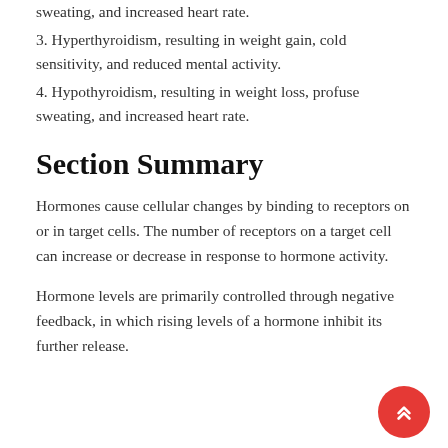sweating, and increased heart rate.
3. Hyperthyroidism, resulting in weight gain, cold sensitivity, and reduced mental activity.
4. Hypothyroidism, resulting in weight loss, profuse sweating, and increased heart rate.
Section Summary
Hormones cause cellular changes by binding to receptors on or in target cells. The number of receptors on a target cell can increase or decrease in response to hormone activity.
Hormone levels are primarily controlled through negative feedback, in which rising levels of a hormone inhibit its further release.